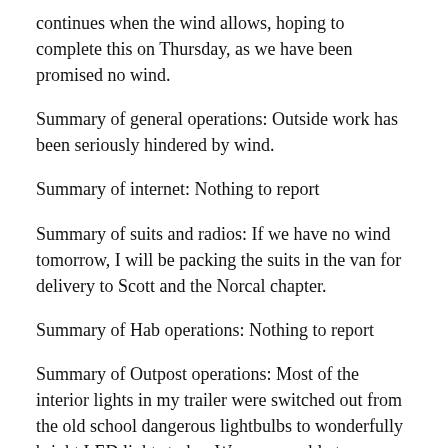continues when the wind allows, hoping to complete this on Thursday, as we have been promised no wind.
Summary of general operations: Outside work has been seriously hindered by wind.
Summary of internet: Nothing to report
Summary of suits and radios: If we have no wind tomorrow, I will be packing the suits in the van for delivery to Scott and the Norcal chapter.
Summary of Hab operations: Nothing to report
Summary of Outpost operations: Most of the interior lights in my trailer were switched out from the old school dangerous lightbulbs to wonderfully bright LED lights today. We were unable to determine where the electrical issue is in the east tinout and will continue with that when